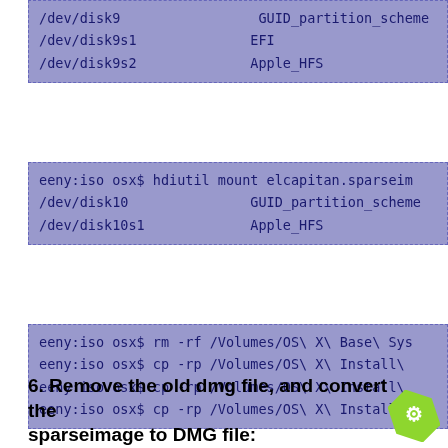/dev/disk9                 GUID_partition_scheme
/dev/disk9s1               EFI
/dev/disk9s2               Apple_HFS
eeny:iso osx$ hdiutil mount elcapitan.sparseim
/dev/disk10                GUID_partition_scheme
/dev/disk10s1              Apple_HFS
eeny:iso osx$ rm -rf /Volumes/OS\ X\ Base\ Sys
eeny:iso osx$ cp -rp /Volumes/OS\ X\ Install\
eeny:iso osx$ cp -rp /Volumes/OS\ X\ Install\
eeny:iso osx$ cp -rp /Volumes/OS\ X\ Install\
eeny:iso osx$ hdiutil detach /dev/disk10
"disk10" unmounted.
"disk10" ejected.
eeny:iso osx$ hdiutil detach /dev/disk9
"disk9" unmounted.
"disk9" ejected.
6. Remove the old dmg file, and convert the sparseimage to DMG file: